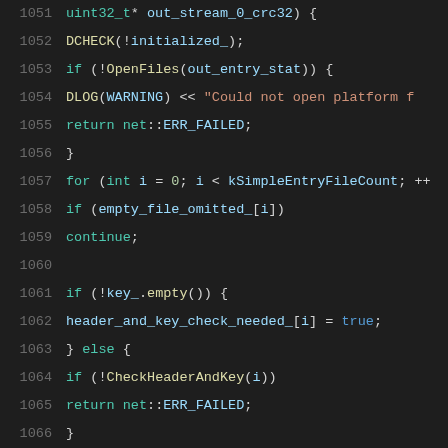[Figure (screenshot): Source code screenshot showing C++ code lines 1051-1072 with syntax highlighting on dark background. Code includes function body with DCHECK, OpenFiles, for loop, key check, CheckHeaderAndKey, and ReadAndValidateStream0 calls.]